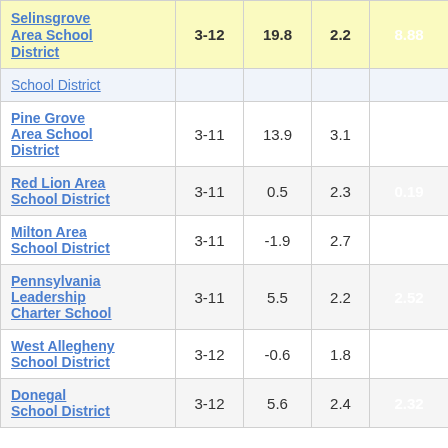| School District | Grades | Col3 | Col4 | Col5 |
| --- | --- | --- | --- | --- |
| Selinsgrove Area School District | 3-12 | 19.8 | 2.2 | 8.88 |
| School District |  |  |  |  |
| Pine Grove Area School District | 3-11 | 13.9 | 3.1 | 4.43 |
| Red Lion Area School District | 3-11 | 0.5 | 2.3 | 0.19 |
| Milton Area School District | 3-11 | -1.9 | 2.7 | -0.69 |
| Pennsylvania Leadership Charter School | 3-11 | 5.5 | 2.2 | 2.52 |
| West Allegheny School District | 3-12 | -0.6 | 1.8 | -0.34 |
| Donegal School District | 3-12 | 5.6 | 2.4 | 2.32 |